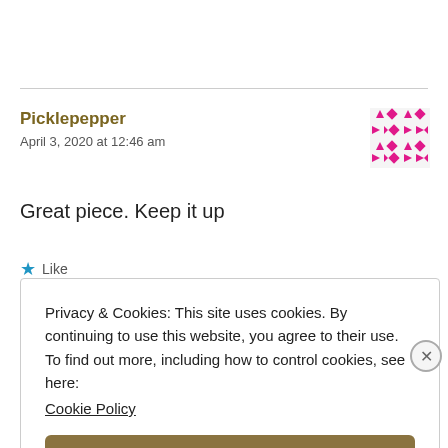Picklepepper
April 3, 2020 at 12:46 am
[Figure (illustration): Pink decorative avatar icon with geometric star/snowflake pattern]
Great piece. Keep it up
★ Like
Privacy & Cookies: This site uses cookies. By continuing to use this website, you agree to their use.
To find out more, including how to control cookies, see here:
Cookie Policy
Close and accept
HIPERFITAS.AS